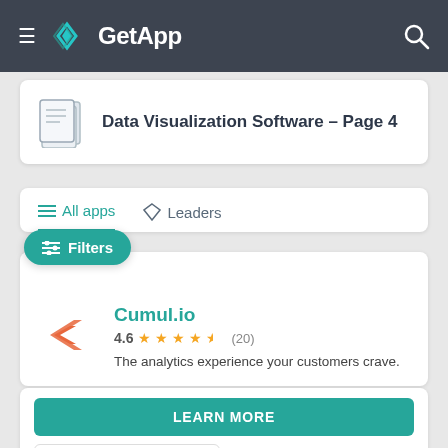GetApp
Data Visualization Software - Page 4
All apps   Leaders
Filters
Cumul.io
4.6 (20)
The analytics experience your customers crave.
LEARN MORE
Compare   Save